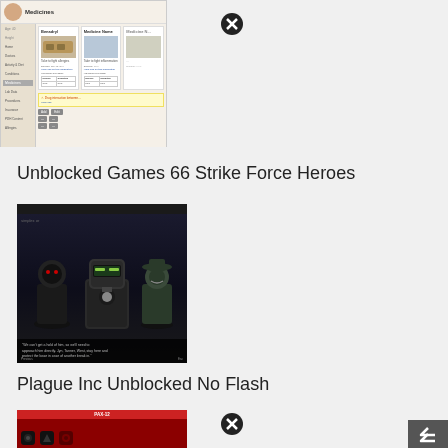[Figure (screenshot): Screenshot of a medicine tracking app showing Benadryl and other medicine entries with sidebar navigation]
[Figure (screenshot): Circle X close button for first screenshot]
Unblocked Games 66 Strike Force Heroes
[Figure (screenshot): Screenshot of Strike Force Heroes game showing armored characters in a dark scene with dialogue text]
Plague Inc Unblocked No Flash
[Figure (screenshot): Screenshot of Plague Inc game with dark red background showing PAX-12 bar and icons]
[Figure (screenshot): Circle X close button for third screenshot]
[Figure (other): Scroll to top arrow button in dark gray]